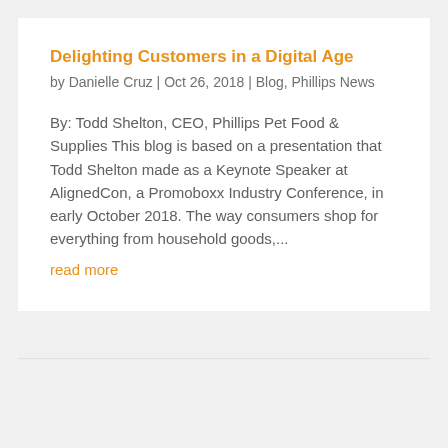Delighting Customers in a Digital Age
by Danielle Cruz | Oct 26, 2018 | Blog, Phillips News
By: Todd Shelton, CEO, Phillips Pet Food & Supplies This blog is based on a presentation that Todd Shelton made as a Keynote Speaker at AlignedCon, a Promoboxx Industry Conference, in early October 2018. The way consumers shop for everything from household goods,...
read more